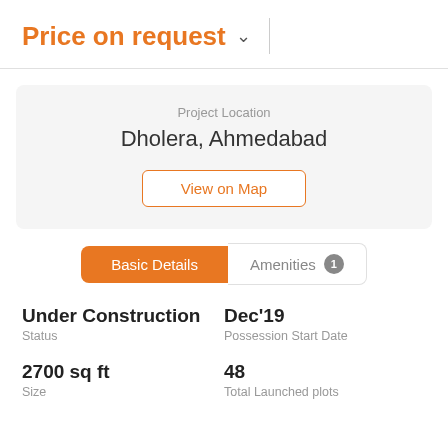Price on request
Project Location
Dholera, Ahmedabad
View on Map
Basic Details
Amenities 1
Under Construction
Status
Dec'19
Possession Start Date
2700 sq ft
Size
48
Total Launched plots